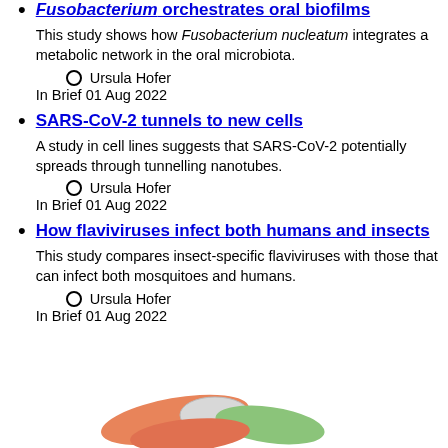Fusobacterium orchestrates oral biofilms
This study shows how Fusobacterium nucleatum integrates a metabolic network in the oral microbiota.
Ursula Hofer
In Brief 01 Aug 2022
SARS-CoV-2 tunnels to new cells
A study in cell lines suggests that SARS-CoV-2 potentially spreads through tunnelling nanotubes.
Ursula Hofer
In Brief 01 Aug 2022
How flaviviruses infect both humans and insects
This study compares insect-specific flaviviruses with those that can infect both mosquitoes and humans.
Ursula Hofer
In Brief 01 Aug 2022
[Figure (illustration): Colorful illustration showing flavivirus or biological structures with orange and green shapes]